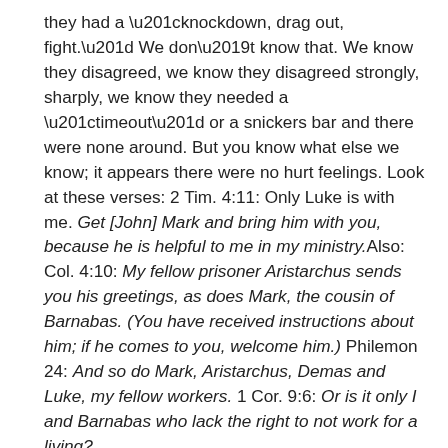they had a “knockdown, drag out, fight.” We don’t know that. We know they disagreed, we know they disagreed strongly, sharply, we know they needed a “timeout” or a snickers bar and there were none around. But you know what else we know; it appears there were no hurt feelings. Look at these verses: 2 Tim. 4:11: Only Luke is with me. Get [John] Mark and bring him with you, because he is helpful to me in my ministry.Also: Col. 4:10: My fellow prisoner Aristarchus sends you his greetings, as does Mark, the cousin of Barnabas. (You have received instructions about him; if he comes to you, welcome him.) Philemon 24: And so do Mark, Aristarchus, Demas and Luke, my fellow workers. 1 Cor. 9:6: Or is it only I and Barnabas who lack the right to not work for a living?